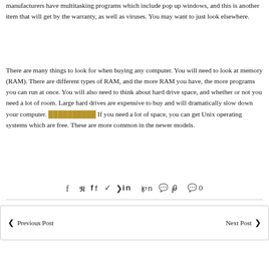manufacturers have multitasking programs which include pop up windows, and this is another item that will get by the warranty, as well as viruses. You may want to just look elsewhere.
There are many things to look for when buying any computer. You will need to look at memory (RAM). There are different types of RAM, and the more RAM you have, the more programs you can run at once. You will also need to think about hard drive space, and whether or not you need a lot of room. Large hard drives are expensive to buy and will dramatically slow down your computer. ########## If you need a lot of space, you can get Unix operating systems which are free. These are more common in the newer models.
f ✓ in ℗ 💬 0
◀ Previous Post    Next Post ▶